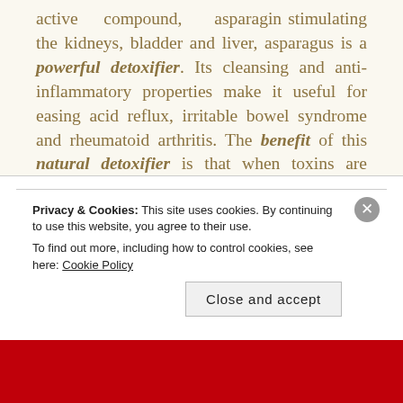active compound, asparagin stimulating the kidneys, bladder and liver, asparagus is a powerful detoxifier. Its cleansing and anti-inflammatory properties make it useful for easing acid reflux, irritable bowel syndrome and rheumatoid arthritis. The benefit of this natural detoxifier is that when toxins are removed from the body, the body is able to operate more effectively and at an optimal level.
Privacy & Cookies: This site uses cookies. By continuing to use this website, you agree to their use.
To find out more, including how to control cookies, see here: Cookie Policy